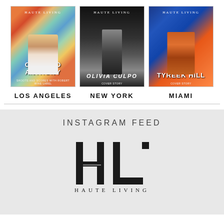[Figure (illustration): Three Haute Living magazine covers side by side. Left: Carmelo Anthony (Los Angeles), Center: Olivia Culpo (New York), Right: Tyreek Hill (Miami).]
LOS ANGELES
NEW YORK
MIAMI
INSTAGRAM FEED
[Figure (logo): Haute Living HL monogram logo with serif H and L letters and HAUTE LIVING text beneath]